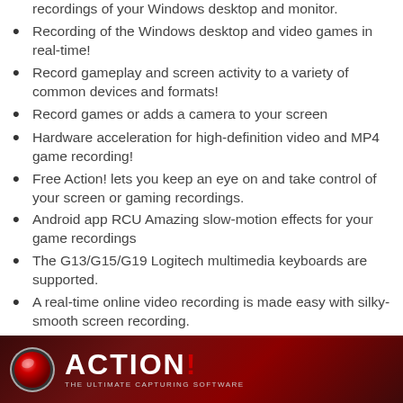recordings of your Windows desktop and monitor.
Recording of the Windows desktop and video games in real-time!
Record gameplay and screen activity to a variety of common devices and formats!
Record games or adds a camera to your screen
Hardware acceleration for high-definition video and MP4 game recording!
Free Action! lets you keep an eye on and take control of your screen or gaming recordings.
Android app RCU Amazing slow-motion effects for your game recordings
The G13/G15/G19 Logitech multimedia keyboards are supported.
A real-time online video recording is made easy with silky-smooth screen recording.
[Figure (logo): Action! software banner logo with red circle record button icon and 'ACTION!' text with tagline 'THE ULTIMATE CAPTURING SOFTWARE' on dark red gradient background]